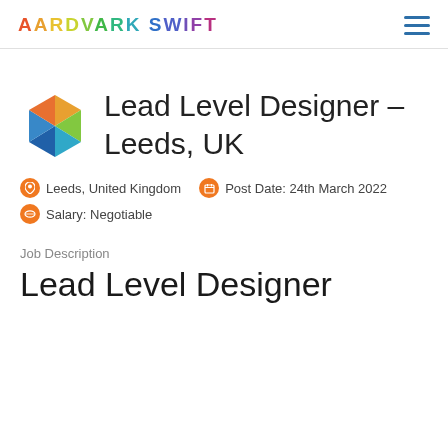AARDVARK SWIFT
Lead Level Designer – Leeds, UK
Leeds, United Kingdom   Post Date: 24th March 2022   Salary: Negotiable
Job Description
Lead Level Designer